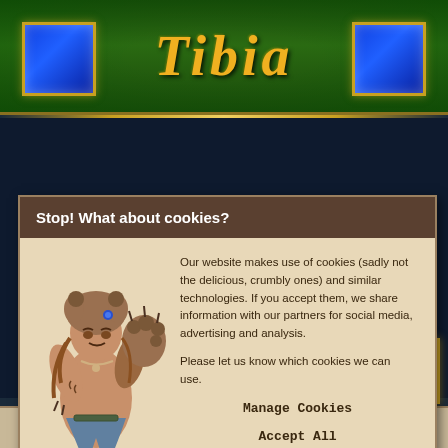Tibia
Stop! What about cookies?
[Figure (illustration): Barbarian warrior character with bear head helmet, raising a bear paw, wearing animal skins — from the Tibia game]
Our website makes use of cookies (sadly not the delicious, crumbly ones) and similar technologies. If you accept them, we share information with our partners for social media, advertising and analysis.

Please let us know which cookies we can use.
Manage Cookies
Accept All